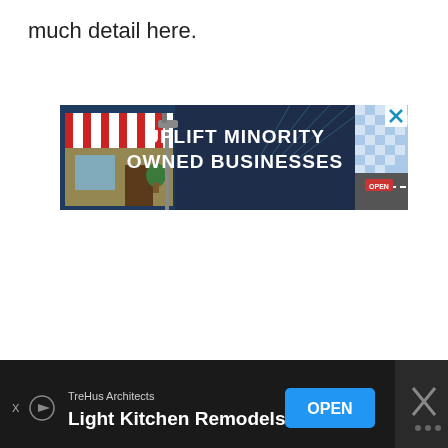much detail here.
[Figure (illustration): Advertisement banner: 'UPLIFT MINORITY OWNED BUSINESSES' with illustrated storefront on dark navy background, close button (X) top right, OPEN sign bottom right.]
[Figure (illustration): Bottom advertisement bar: TreHus Architects - Light Kitchen Remodels with OPEN button and close X button on dark background.]